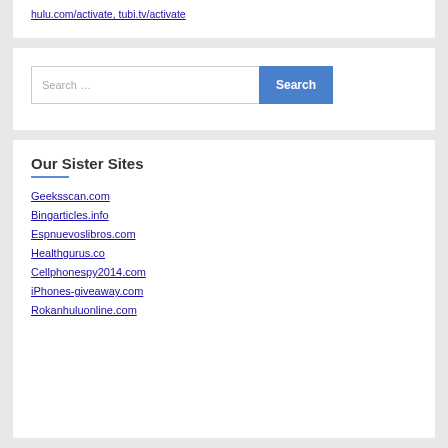hulu.com/activate, tubi.tv/activate
[Figure (screenshot): Search bar with text 'Search ...' and a blue 'Search' button]
Our Sister Sites
Geeksscan.com
Bingarticles.info
Espnuevoslibros.com
Healthgurus.co
Cellphonespy2014.com
iPhones-giveaway.com
Rokanhuluonline.com